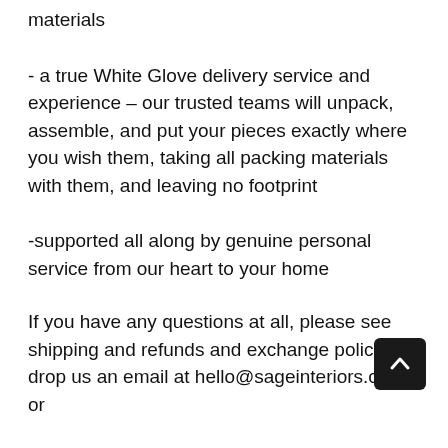materials
- a true White Glove delivery service and experience – our trusted teams will unpack, assemble, and put your pieces exactly where you wish them, taking all packing materials with them, and leaving no footprint
-supported all along by genuine personal service from our heart to your home
If you have any questions at all, please see shipping and refunds and exchange policies, drop us an email at hello@sageinteriors.com or